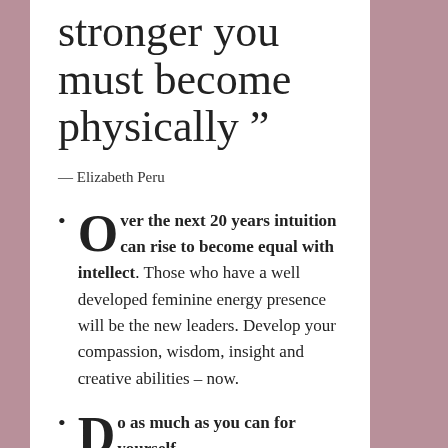stronger you must become physically ”
— Elizabeth Peru
Over the next 20 years intuition can rise to become equal with intellect. Those who have a well developed feminine energy presence will be the new leaders. Develop your compassion, wisdom, insight and creative abilities – now.
Do as much as you can for yourself –